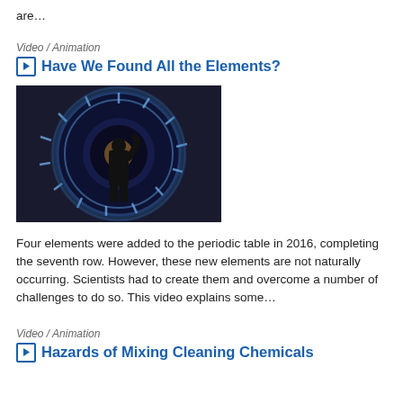are…
Video / Animation
Have We Found All the Elements?
[Figure (photo): Silhouette of a person standing in front of a large circular particle accelerator detector with blue glowing elements arranged in a ring pattern]
Four elements were added to the periodic table in 2016, completing the seventh row. However, these new elements are not naturally occurring. Scientists had to create them and overcome a number of challenges to do so. This video explains some…
Video / Animation
Hazards of Mixing Cleaning Chemicals